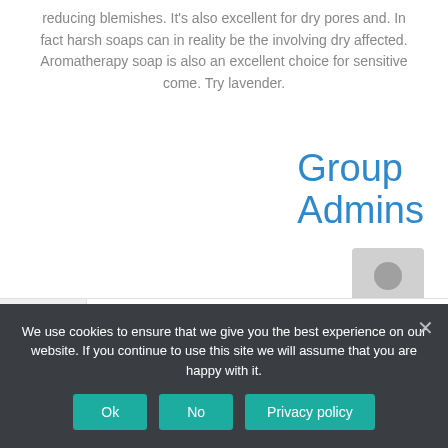reducing blemishes. It's also excellent for dry pores and. In fact harsh soaps can in reality be the involving dry affected. Aromatherapy soap is also an excellent choice for sensitive come. Try lavender.
Group Admins
[Figure (illustration): Generic user avatar placeholder icon — grey silhouette of a person on a light grey background]
Home   Members 1   Send Invites
We use cookies to ensure that we give you the best experience on our website. If you continue to use this site we will assume that you are happy with it.
Ok   No   Privacy policy